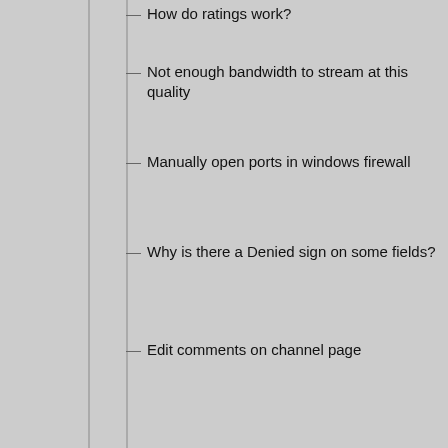How do ratings work?
Not enough bandwidth to stream at this quality
Manually open ports in windows firewall
Why is there a Denied sign on some fields?
Edit comments on channel page
How to monetize Pay Per View events and VODs
How to use WinMTR to test against our network
Broadcast to HTML5 devices
Purchase event tickets – Module
How can I have my channels published on Homepage?
Change your account time zone